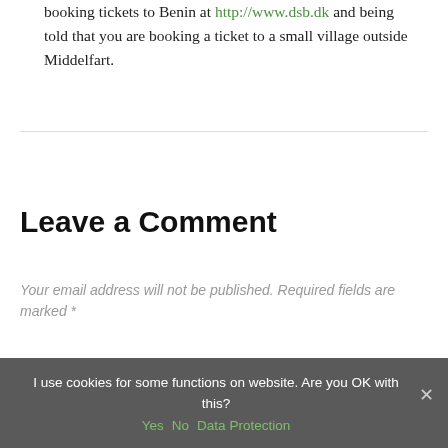booking tickets to Benin at http://www.dsb.dk and being told that you are booking a ticket to a small village outside Middelfart.
Leave a Comment
Your email address will not be published. Required fields are marked *
Message
I use cookies for some functions on website. Are you OK with this? Yes  No  Data Protection